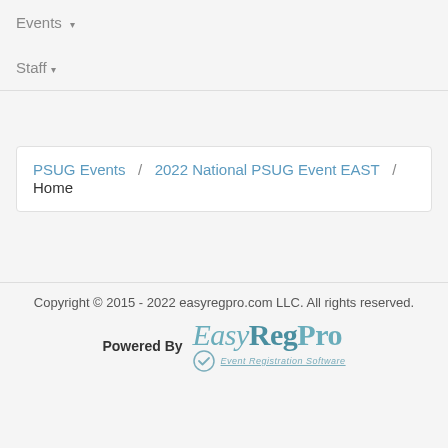Events ▾
Staff ▾
PSUG Events / 2022 National PSUG Event EAST / Home
Copyright © 2015 - 2022 easyregpro.com LLC. All rights reserved.
Powered By EasyRegPro — Event Registration Software